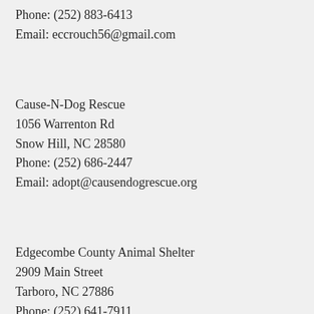Phone: (252) 883-6413
Email: eccrouch56@gmail.com
Cause-N-Dog Rescue
1056 Warrenton Rd
Snow Hill, NC 28580
Phone: (252) 686-2447
Email: adopt@causendogrescue.org
Edgecombe County Animal Shelter
2909 Main Street
Tarboro, NC 27886
Phone: (252) 641-7911